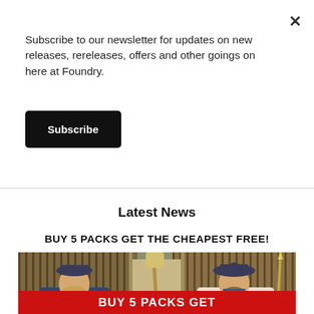Subscribe to our newsletter for updates on new releases, rereleases, offers and other goings on here at Foundry.
Subscribe
Latest News
BUY 5 PACKS GET THE CHEAPEST FREE!
[Figure (photo): Two painted miniature figurines — a bearded man on the left and a tricorn-hatted man on the right — posed in front of a wooden fence/stockade background. The left figure holds a mop or stick. A red banner at the bottom reads 'BUY 5 PACKS GET']